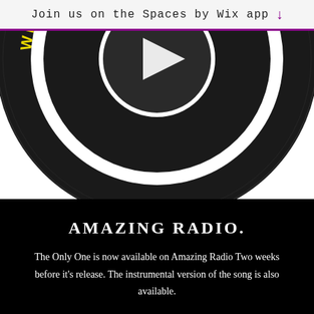Join us on the Spaces by Wix app ↓
[Figure (illustration): Circular vinyl record logo with dark background. Yellow text curved around the edge reads 'WHERE TALENT GETS NOTICED'. A play button triangle icon is visible in the center circle.]
AMAZING RADIO.
The Only One is now available on Amazing Radio Two weeks before it's release. The instrumental version of the song is also available.
[Figure (photo): Partial image of a person's head/upper body, dark toned, visible from below against a gray-blue background. A brown circular chat bubble icon is visible in the bottom right corner.]